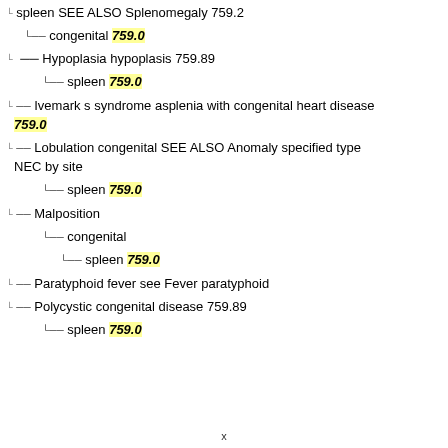spleen SEE ALSO Splenomegaly 759.2
congenital 759.0
Hypoplasia hypoplasis 759.89
spleen 759.0
Ivemark s syndrome asplenia with congenital heart disease 759.0
Lobulation congenital SEE ALSO Anomaly specified type NEC by site
spleen 759.0
Malposition
congenital
spleen 759.0
Paratyphoid fever see Fever paratyphoid
Polycystic congenital disease 759.89
spleen 759.0
x